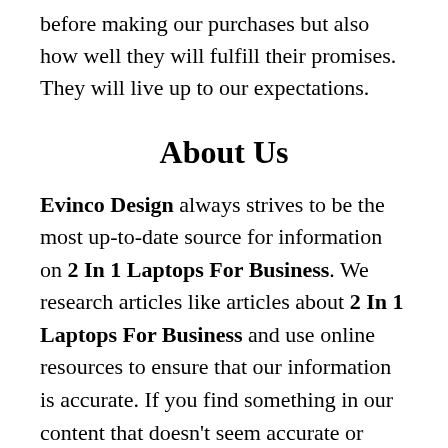before making our purchases but also how well they will fulfill their promises. They will live up to our expectations.
About Us
Evinco Design always strives to be the most up-to-date source for information on 2 In 1 Laptops For Business. We research articles like articles about 2 In 1 Laptops For Business and use online resources to ensure that our information is accurate. If you find something in our content that doesn't seem accurate or applicable, please let us know so that we can correct it. Our goal is to provide you with reliable information from a trusted